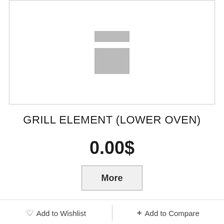[Figure (photo): Product image placeholder with two gray rectangles on white background inside a bordered box]
GRILL ELEMENT (LOWER OVEN)
0.00$
More
Add to Wishlist
+ Add to Compare
[Figure (photo): Partial product image showing a dark curved grill element part against white background inside a bordered box]